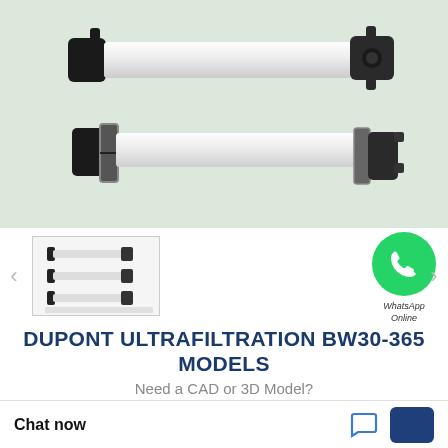[Figure (photo): Two DuPont ultrafiltration membrane modules (BW30-365) with white cylindrical bodies and dark end caps with pipe fittings, shown against a light green background.]
[Figure (photo): Thumbnail showing multiple small ultrafiltration module units side by side.]
[Figure (illustration): WhatsApp logo circle (green) with phone handset icon, labeled WhatsApp Online.]
DUPONT ULTRAFILTRATION BW30-365 MODELS
Need a CAD or 3D Model?
What is BW30-365 bearing interchange?
Contact Now
Chat now